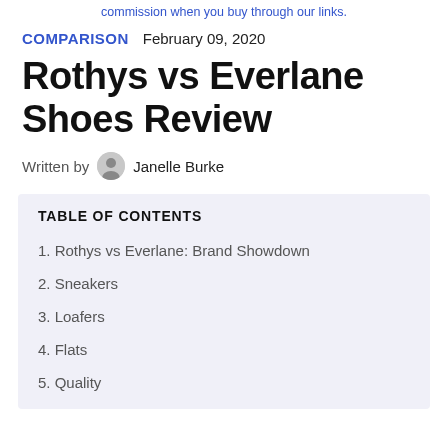commission when you buy through our links.
COMPARISON   February 09, 2020
Rothys vs Everlane Shoes Review
Written by  Janelle Burke
TABLE OF CONTENTS
1. Rothys vs Everlane: Brand Showdown
2. Sneakers
3. Loafers
4. Flats
5. Quality